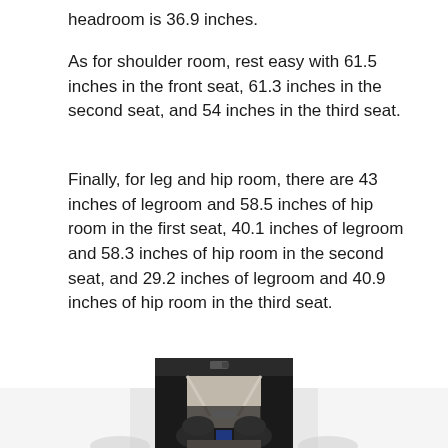headroom is 36.9 inches.
As for shoulder room, rest easy with 61.5 inches in the front seat, 61.3 inches in the second seat, and 54 inches in the third seat.
Finally, for leg and hip room, there are 43 inches of legroom and 58.5 inches of hip room in the first seat, 40.1 inches of legroom and 58.3 inches of hip room in the second seat, and 29.2 inches of legroom and 40.9 inches of hip room in the third seat.
[Figure (photo): Interior view of an SUV with the rear hatch open, showing the trunk area from outside looking in through an open liftgate. Two front seats with dark upholstery are visible, along with a center console with an infotainment screen, rearview mirror, and the vehicle interior from a top-down rear perspective.]